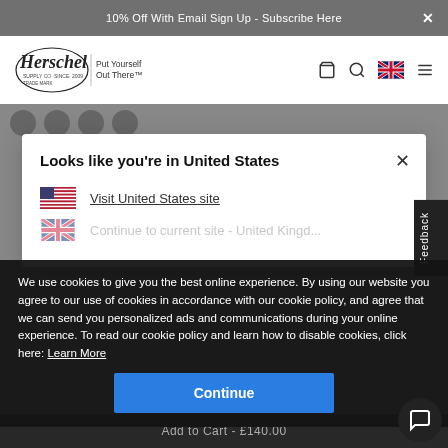10% Off With Email Sign Up - Subscribe Here
[Figure (screenshot): Herschel Supply Co. logo with 'Put Yourself Out There' tagline and navigation icons (bag, search, UK flag, menu)]
Looks like you're in United States
Visit United States site
We use cookies to give you the best online experience. By using our website you agree to our use of cookies in accordance with our cookie policy, and agree that we can send you personalized ads and communications during your online experience. To read our cookie policy and learn how to disable cookies, click here: Learn More
Continue
Add to Cart - £140.00